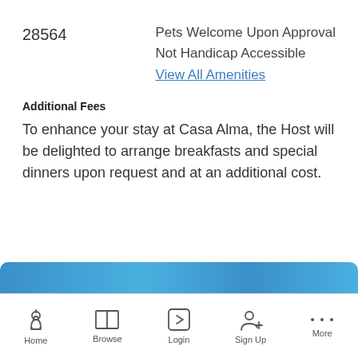28564
Pets Welcome Upon Approval
Not Handicap Accessible
View All Amenities
Additional Fees
To enhance your stay at Casa Alma, the Host will be delighted to arrange breakfasts and special dinners upon request and at an additional cost.
[Figure (screenshot): Blue button bar at bottom of mobile app screen]
Home   Browse   Login   Sign Up   More